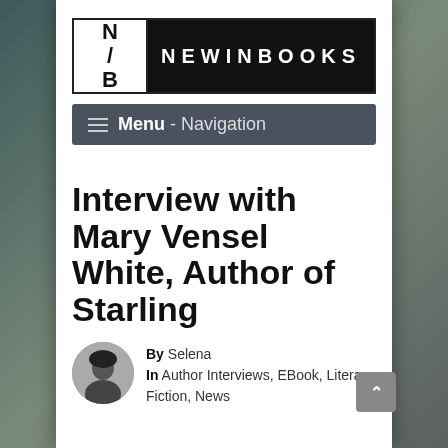[Figure (logo): NewInBooks logo: white box with N/B on left, black bar with NEWINBOOKS text on right]
≡ Menu - Navigation
Interview with Mary Vensel White, Author of Starling
By Selena
In Author Interviews, EBook, Literary Fiction, News